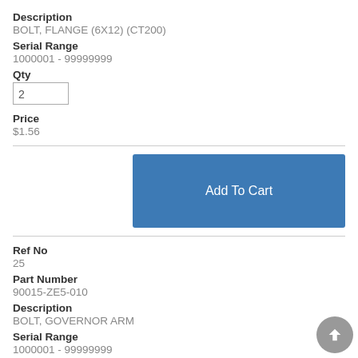Description
BOLT, FLANGE (6X12) (CT200)
Serial Range
1000001 - 99999999
Qty
2
Price
$1.56
Add To Cart
Ref No
25
Part Number
90015-ZE5-010
Description
BOLT, GOVERNOR ARM
Serial Range
1000001 - 99999999
Qty